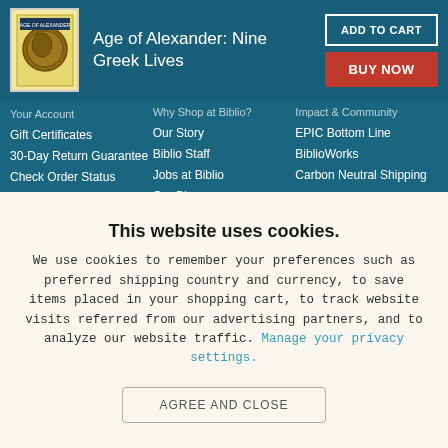[Figure (screenshot): Book cover image for Age of Alexander: Nine Greek Lives with coin illustration]
Age of Alexander: Nine Greek Lives
ADD TO CART
BUY NOW
Your Account
Gift Certificates
30-Day Return Guarantee
Check Order Status
Purchase Orders
Coupons & Promos
Affiliate Program
Why Shop at Biblio?
Our Story
Biblio Staff
Jobs at Biblio
Our Blog
Link to Us
Contact Us
EPIC Bottom Line
BiblioWorks
Carbon Neutral Shipping
Resources
Book Collecting
This website uses cookies.
We use cookies to remember your preferences such as preferred shipping country and currency, to save items placed in your shopping cart, to track website visits referred from our advertising partners, and to analyze our website traffic. Manage your privacy settings.
AGREE AND CLOSE